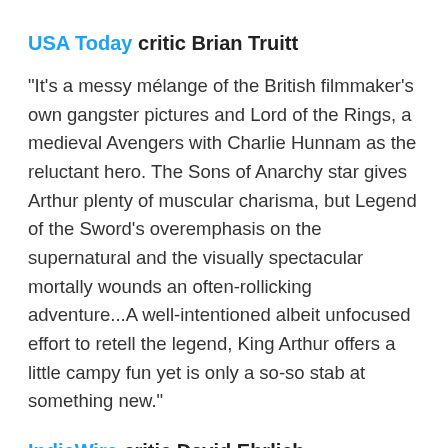USA Today critic Brian Truitt
"It's a messy mélange of the British filmmaker's own gangster pictures and Lord of the Rings, a medieval Avengers with Charlie Hunnam as the reluctant hero. The Sons of Anarchy star gives Arthur plenty of muscular charisma, but Legend of the Sword's overemphasis on the supernatural and the visually spectacular mortally wounds an often-rollicking adventure...A well-intentioned albeit unfocused effort to retell the legend, King Arthur offers a little campy fun yet is only a so-so stab at something new."
IndieWire critic David Ehrlich
"If anything, the movie could have used more of an auteurist touch, more of the go-for-broke